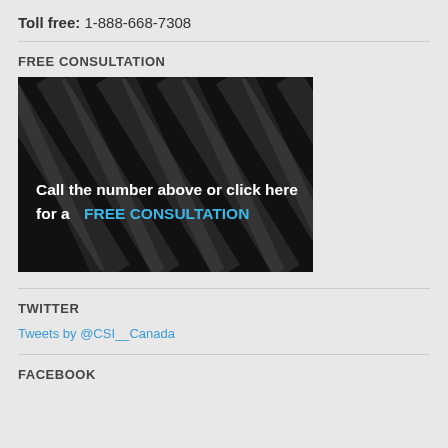Toll free: 1-888-668-7308
FREE CONSULTATION
[Figure (illustration): Dark banner with diagonal stripe texture. White bold text reads 'Call the number above or click here for a' followed by 'FREE CONSULTATION' in blue text.]
TWITTER
Tweets by @CSI__Canada
FACEBOOK